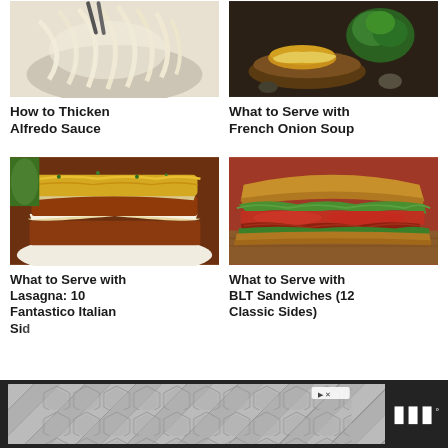[Figure (photo): Close-up of creamy white alfredo sauce with pasta noodles and tongs]
How to Thicken Alfredo Sauce
[Figure (photo): Bowl of French onion soup with bread, parsley garnish on dark background]
What to Serve with French Onion Soup
[Figure (photo): Layered lasagna with meat sauce and melted cheese on a plate]
What to Serve with Lasagna: 10 Fantastico Italian Sides
[Figure (photo): BLT sandwich with bacon, lettuce, and tomato on whole grain bread on a wooden board]
What to Serve with BLT Sandwiches (12 Classic Sides)
[Figure (other): Advertisement banner with hexagonal pattern and media logo]